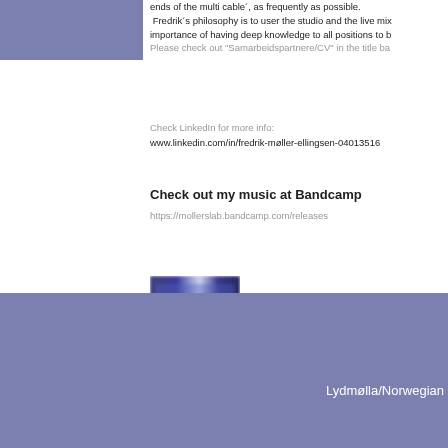[Figure (illustration): Blue/purple rectangular block in top-left corner]
ends of the multi cable´, as frequently as possible.
 Fredrik´s philosophy is to user the studio and the live mix
importance of having deep knowledge to all positions to b
Please check out "Samarbeidspartnere/CV" in the title ba
Check LinkedIn for more info:
www.linkedin.com/in/fredrik-møller-ellingsen-04013516
Check out my music at Bandcamp
https://mollerslab.bandcamp.com/releases
[Figure (photo): Small blurry dark blue/purple elongated image, possibly a studio or instrument]
Lydmølla/Norwegian